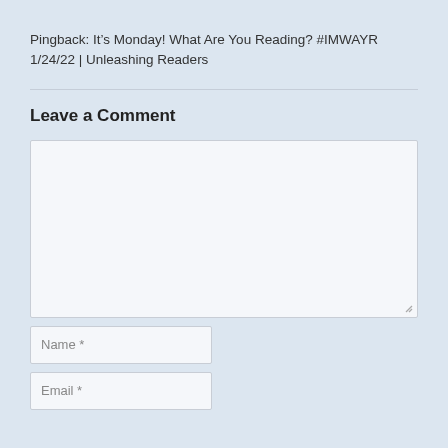Pingback: It’s Monday! What Are You Reading? #IMWAYR 1/24/22 | Unleashing Readers
Leave a Comment
[Figure (screenshot): Large comment text area input box, empty, with resize handle at bottom right]
[Figure (screenshot): Name input field with placeholder text 'Name *']
[Figure (screenshot): Email input field with placeholder text 'Email *']